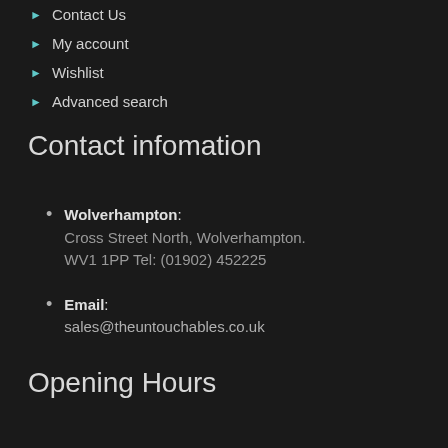Contact Us
My account
Wishlist
Advanced search
Contact infomation
Wolverhampton: Cross Street North, Wolverhampton. WV1 1PP Tel: (01902) 452225
Email: sales@theuntouchables.co.uk
Opening Hours